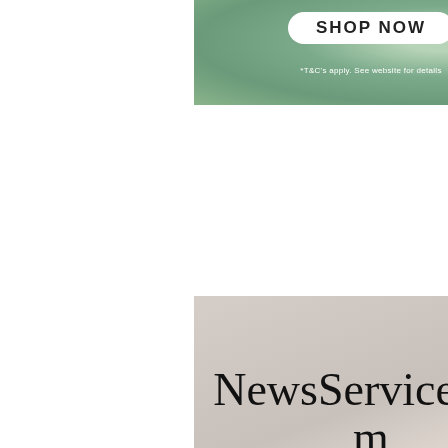[Figure (illustration): Green textured banner advertisement with a 'SHOP NOW' button and small footnote text '*T&C's apply. See website for details']
[Figure (illustration): Advertisement for NewsServices.com with pinkish-beige gradient background showing the website name, tagline 'Content & Technology Connecting Global Audiences', slogan 'More Information – Less Opinion', and three dark buttons at the bottom]